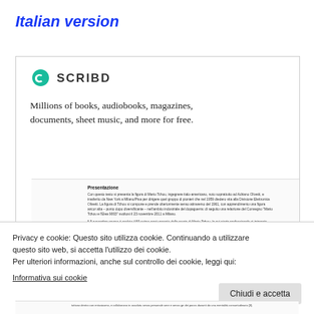Italian version
[Figure (screenshot): Scribd website screenshot showing logo, tagline 'Millions of books, audiobooks, magazines, documents, sheet music, and more for free.' and a document preview with Italian text titled 'Presentazione']
Privacy e cookie: Questo sito utilizza cookie. Continuando a utilizzare questo sito web, si accetta l'utilizzo dei cookie.
Per ulteriori informazioni, anche sul controllo dei cookie, leggi qui:
Informativa sui cookie
Chiudi e accetta